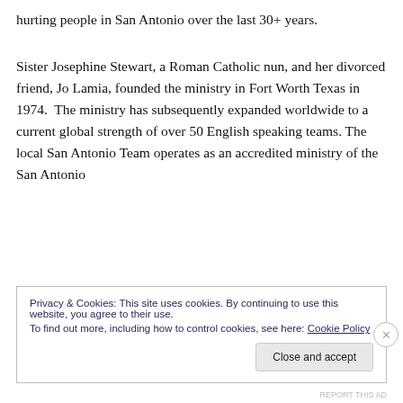hurting people in San Antonio over the last 30+ years.
Sister Josephine Stewart, a Roman Catholic nun, and her divorced friend, Jo Lamia, founded the ministry in Fort Worth Texas in 1974. The ministry has subsequently expanded worldwide to a current global strength of over 50 English speaking teams. The local San Antonio Team operates as an accredited ministry of the San Antonio
Privacy & Cookies: This site uses cookies. By continuing to use this website, you agree to their use.
To find out more, including how to control cookies, see here: Cookie Policy
Close and accept
REPORT THIS AD